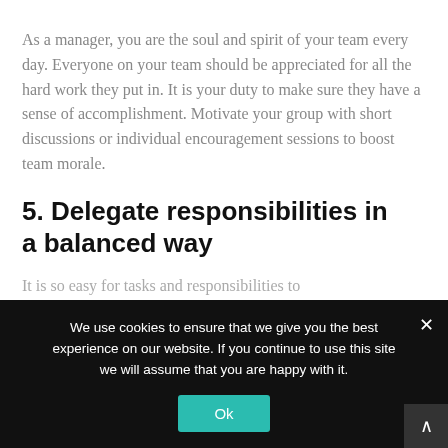As a manager, you are the soul and spirit of your team every day. Everyone on your team should be appreciated for all the hard work they put in. It is your duty to make sure they have a sense of accomplishment. Motivate your group with short discussions or individual encouragement sessions to boost team morale.
5. Delegate responsibilities in a balanced way
It is so easy for tasks and responsibilities to
We use cookies to ensure that we give you the best experience on our website. If you continue to use this site we will assume that you are happy with it.